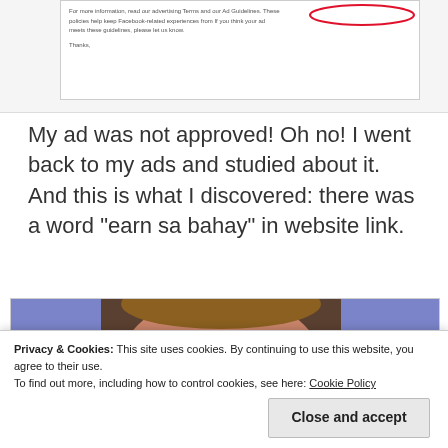[Figure (screenshot): Screenshot of a Facebook ad rejection notice with red circle annotation around text about advertising Terms and Ad Guidelines]
My ad was not approved! Oh no! I went back to my ads and studied about it. And this is what I discovered: there was a word “earn sa bahay” in website link.
[Figure (screenshot): Screenshot showing a crying baby photo with blue background panels on sides, a cookie consent banner overlay, and a URL bar showing HTTP://JHILARIO.COM/EARNSABAHAY2014 with a red oval annotation. Cookie banner reads: Privacy & Cookies: This site uses cookies. By continuing to use this website, you agree to their use. To find out more, including how to control cookies, see here: Cookie Policy. Close and accept button visible. Learn More button in URL bar area.]